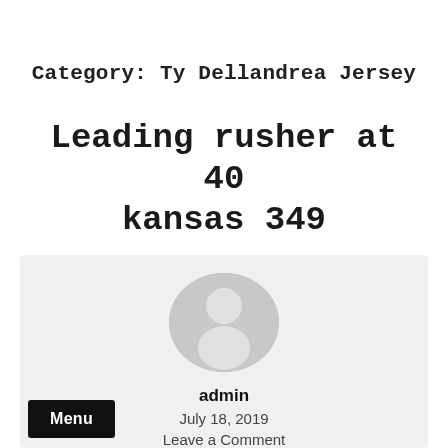Category: Ty Dellandrea Jersey
Leading rusher at 40 kansas 349
[Figure (illustration): User avatar placeholder icon — a grey circle with a white silhouette person icon inside]
admin
July 18, 2019
Leave a Comment
Menu